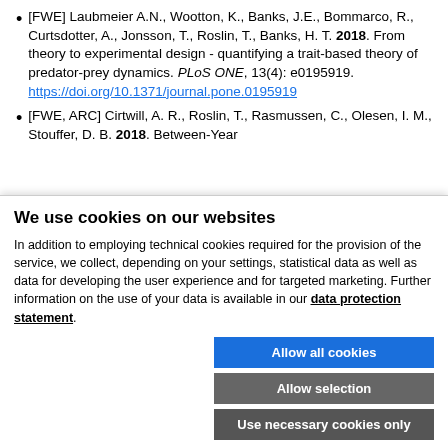[FWE] Laubmeier A.N., Wootton, K., Banks, J.E., Bommarco, R., Curtsdotter, A., Jonsson, T., Roslin, T., Banks, H. T. 2018. From theory to experimental design - quantifying a trait-based theory of predator-prey dynamics. PLoS ONE, 13(4): e0195919. https://doi.org/10.1371/journal.pone.0195919
[FWE, ARC] Cirtwill, A. R., Roslin, T., Rasmussen, C., Olesen, I. M., Stouffer, D. B. 2018. Between-Year
We use cookies on our websites
In addition to employing technical cookies required for the provision of the service, we collect, depending on your settings, statistical data as well as data for developing the user experience and for targeted marketing. Further information on the use of your data is available in our data protection statement.